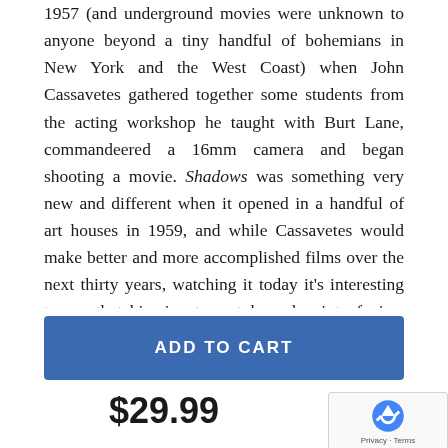1957 (and underground movies were unknown to anyone beyond a tiny handful of bohemians in New York and the West Coast) when John Cassavetes gathered together some students from the acting workshop he taught with Burt Lane, commandeered a 16mm camera and began shooting a movie. Shadows was something very new and different when it opened in a handful of art houses in 1959, and while Cassavetes would make better and more accomplished films over the next thirty years, watching it today it's interesting to see that his signature style and point of view was already in place, emphasizing naturalism above all else and giving his cast free reign to tell this story of love, honesty and their failings. Shadows has never looked especially good on home video, and the Criterion
ADD TO CART
$29.99